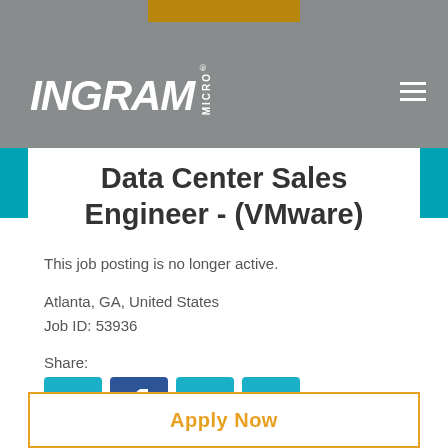[Figure (logo): Ingram Micro logo in white on grey header background]
Data Center Sales Engineer - (VMware)
This job posting is no longer active.
Atlanta, GA, United States
Job ID: 53936
Share:
[Figure (infographic): Social share icons: email, Facebook, LinkedIn, Twitter]
Apply Now